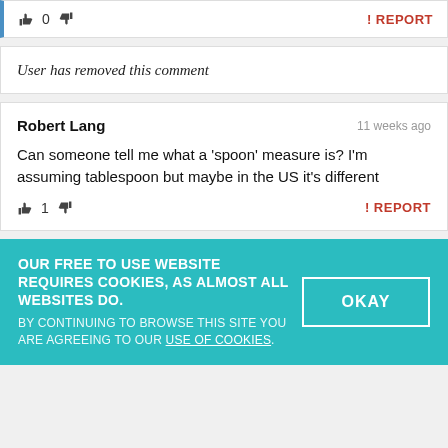👍 0 👎  ! REPORT
User has removed this comment
Robert Lang  11 weeks ago
Can someone tell me what a 'spoon' measure is? I'm assuming tablespoon but maybe in the US it's different
👍 1 👎  ! REPORT
OUR FREE TO USE WEBSITE REQUIRES COOKIES, AS ALMOST ALL WEBSITES DO. BY CONTINUING TO BROWSE THIS SITE YOU ARE AGREEING TO OUR USE OF COOKIES.  OKAY